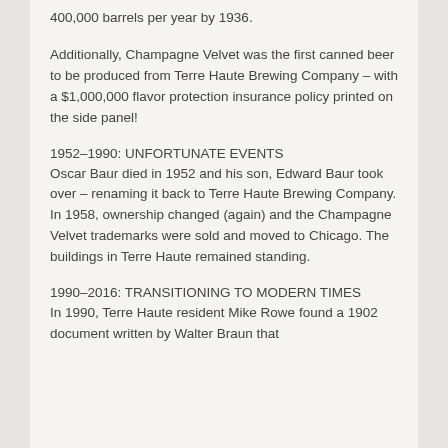400,000 barrels per year by 1936.
Additionally, Champagne Velvet was the first canned beer to be produced from Terre Haute Brewing Company – with a $1,000,000 flavor protection insurance policy printed on the side panel!
1952–1990: UNFORTUNATE EVENTS
Oscar Baur died in 1952 and his son, Edward Baur took over – renaming it back to Terre Haute Brewing Company. In 1958, ownership changed (again) and the Champagne Velvet trademarks were sold and moved to Chicago. The buildings in Terre Haute remained standing.
1990–2016: TRANSITIONING TO MODERN TIMES
In 1990, Terre Haute resident Mike Rowe found a 1902 document written by Walter Braun that